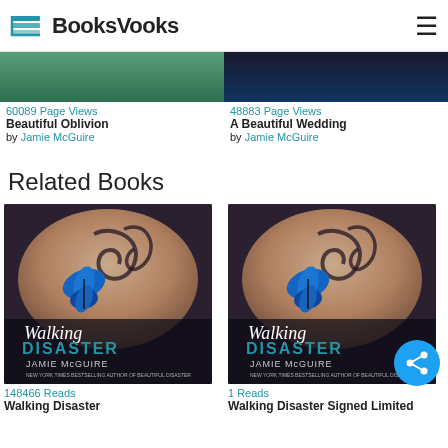BooksVooks
60089 Page Views
Beautiful Oblivion by Jamie McGuire
48883 Page Views
A Beautiful Wedding by Jamie McGuire
Related Books
[Figure (photo): Book cover: Walking Disaster by Jamie McGuire, New York Times Bestselling Author of Beautiful Disaster. Shows a blue butterfly on a tattoo on someone's back.]
[Figure (photo): Book cover: Walking Disaster by Jamie McGuire (Signed Limited edition), similar cover with blue butterfly tattoo image.]
148466 Reads
Walking Disaster
1 Reads
Walking Disaster Signed Limited